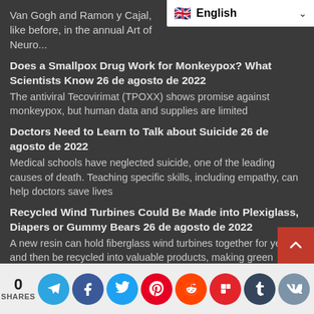Van Gogh and Ramon y Cajal, like before, in the annual Art of Neuro...
[Figure (screenshot): Language selector dropdown showing English with UK flag]
Does a Smallpox Drug Work for Monkeypox? What Scientists Know 26 de agosto de 2022
The antiviral Tecovirimat (TPOXX) shows promise against monkeypox, but human data and supplies are limited
Doctors Need to Learn to Talk about Suicide 26 de agosto de 2022
Medical schools have neglected suicide, one of the leading causes of death. Teaching specific skills, including empathy, can help doctors save lives
Recycled Wind Turbines Could Be Made into Plexiglass, Diapers or Gummy Bears 26 de agosto de 2022
A new resin can hold fiberglass wind turbines together for years and then be recycled into valuable products, making green energy even greener
Understanding the Inner Workings of Stars [Sponsored] Aug 25, 2022
0 SHARES — Social share buttons: Telegram, Facebook, Twitter, Pinterest, Reddit, Flipboard, Tumblr, VK